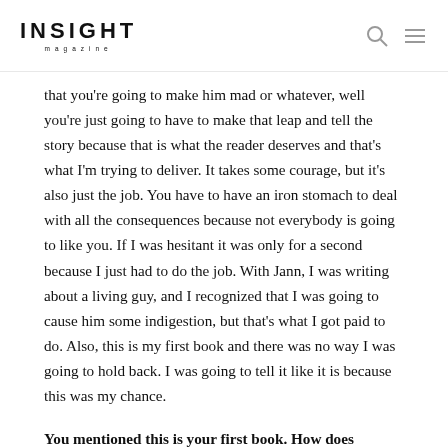INSIGHT magazine
that you're going to make him mad or whatever, well you're just going to have to make that leap and tell the story because that is what the reader deserves and that's what I'm trying to deliver. It takes some courage, but it's also just the job. You have to have an iron stomach to deal with all the consequences because not everybody is going to like you. If I was hesitant it was only for a second because I just had to do the job. With Jann, I was writing about a living guy, and I recognized that I was going to cause him some indigestion, but that's what I got paid to do. Also, this is my first book and there was no way I was going to hold back. I was going to tell it like it is because this was my chance.
You mentioned this is your first book. How does